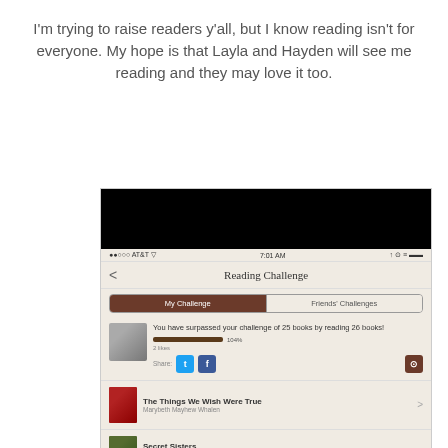I'm trying to raise readers y'all, but I know reading isn't for everyone.  My hope is that Layla and Hayden will see me reading and they may love it too.
[Figure (screenshot): Screenshot of a Goodreads app showing the Reading Challenge screen. It shows a black top bar, status bar with AT&T carrier at 7:01 AM, a navigation bar titled 'Reading Challenge' with back arrow, tab bar with 'My Challenge' (active, brown) and 'Friends' Challenges', a profile picture with text 'You have surpassed your challenge of 25 books by reading 26 books!' with a progress bar showing 104%, 2 likes, share buttons for Twitter, Facebook, and Instagram, and book entries 'The Things We Wish Were True' by Marybeth Mayhew Whalen, and 'Secret Sisters' partially visible.]